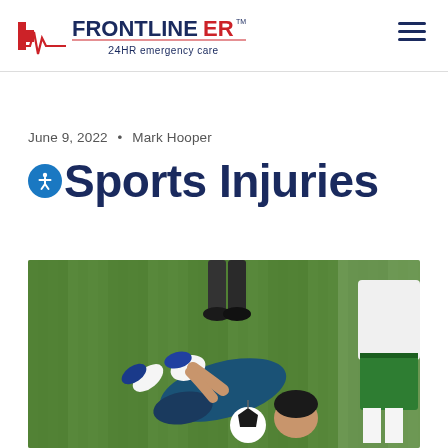FRONTLINE ER — 24HR emergency care
June 9, 2022 • Mark Hooper
Sports Injuries
[Figure (photo): Soccer player lying on grass field holding knee in pain, with another player in green and white uniform standing nearby, viewed from above on a sunny day.]